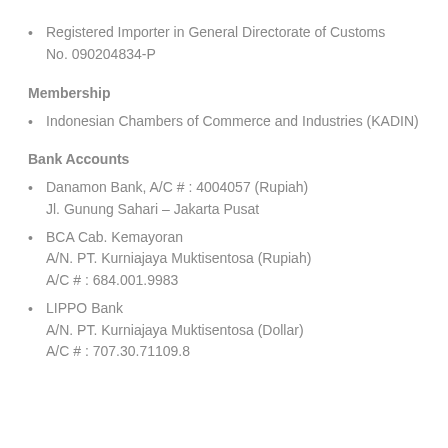Registered Importer in General Directorate of Customs No. 090204834-P
Membership
Indonesian Chambers of Commerce and Industries (KADIN)
Bank Accounts
Danamon Bank, A/C # : 4004057 (Rupiah)
Jl. Gunung Sahari – Jakarta Pusat
BCA Cab. Kemayoran
A/N. PT. Kurniajaya Muktisentosa (Rupiah)
A/C # : 684.001.9983
LIPPO Bank
A/N. PT. Kurniajaya Muktisentosa (Dollar)
A/C # : 707.30.71109.8